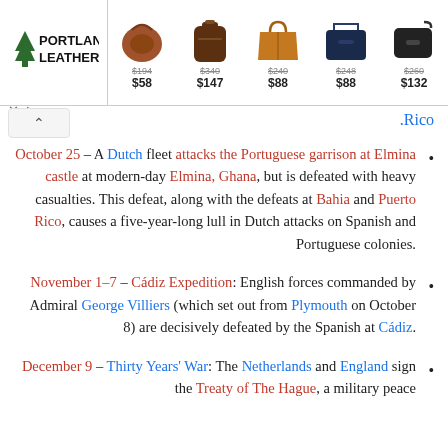[Figure (screenshot): Portland Leather advertisement banner showing 5 leather bag products with original and sale prices: $194/$58, $340/$147, $240/$88, $248/$88, $260/$132]
.Rico
October 25 – A Dutch fleet attacks the Portuguese garrison at Elmina castle at modern-day Elmina, Ghana, but is defeated with heavy casualties. This defeat, along with the defeats at Bahia and Puerto Rico, causes a five-year-long lull in Dutch attacks on Spanish and Portuguese colonies.
November 1–7 – Cádiz Expedition: English forces commanded by Admiral George Villiers (which set out from Plymouth on October 8) are decisively defeated by the Spanish at Cádiz.
December 9 – Thirty Years' War: The Netherlands and England sign the Treaty of The Hague, a military peace